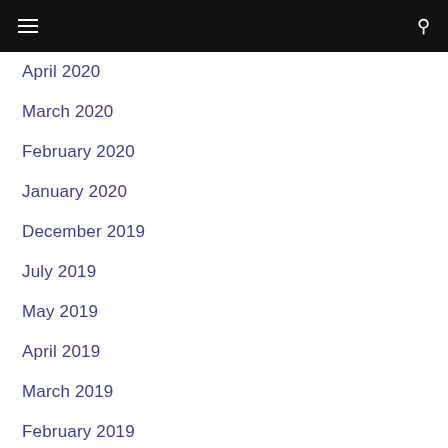Navigation menu with hamburger and search icons
April 2020
March 2020
February 2020
January 2020
December 2019
July 2019
May 2019
April 2019
March 2019
February 2019